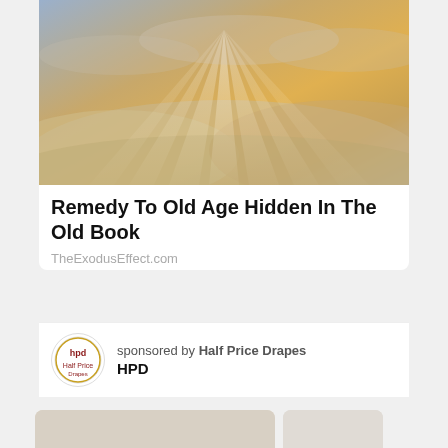[Figure (photo): Dramatic sky with golden rays of light breaking through clouds]
Remedy To Old Age Hidden In The Old Book
TheExodusEffect.com
sponsored by Half Price Drapes
HPD
[Figure (photo): Person with curly hair standing in front of an arch doorway against a neutral background]